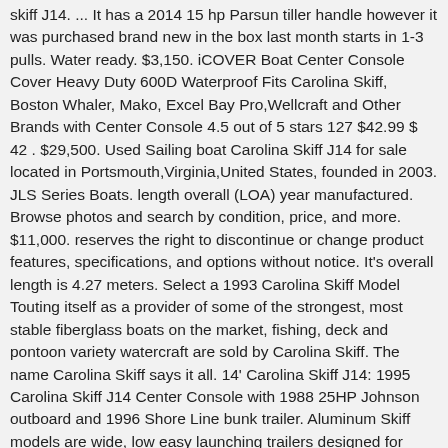skiff J14. ... It has a 2014 15 hp Parsun tiller handle however it was purchased brand new in the box last month starts in 1-3 pulls. Water ready. $3,150. iCOVER Boat Center Console Cover Heavy Duty 600D Waterproof Fits Carolina Skiff, Boston Whaler, Mako, Excel Bay Pro,Wellcraft and Other Brands with Center Console 4.5 out of 5 stars 127 $42.99 $ 42 . $29,500. Used Sailing boat Carolina Skiff J14 for sale located in Portsmouth,Virginia,United States, founded in 2003. JLS Series Boats. length overall (LOA) year manufactured. Browse photos and search by condition, price, and more. $11,000. reserves the right to discontinue or change product features, specifications, and options without notice. It's overall length is 4.27 meters. Select a 1993 Carolina Skiff Model Touting itself as a provider of some of the strongest, most stable fiberglass boats on the market, fishing, deck and pontoon variety watercraft are sold by Carolina Skiff. The name Carolina Skiff says it all. 14' Carolina Skiff J14: 1995 Carolina Skiff J14 Center Console with 1988 25HP Johnson outboard and 1996 Shore Line bunk trailer. Aluminum Skiff models are wide, low easy launching trailers designed for center console